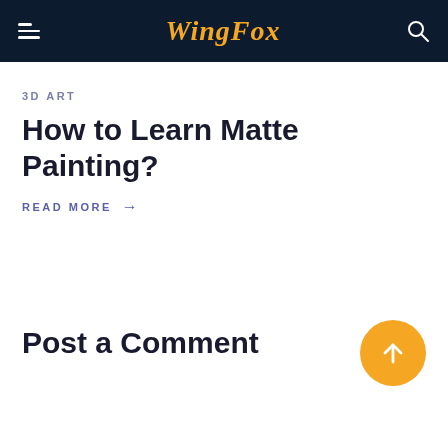WingFox
3D ART
How to Learn Matte Painting?
READ MORE →
Post a Comment